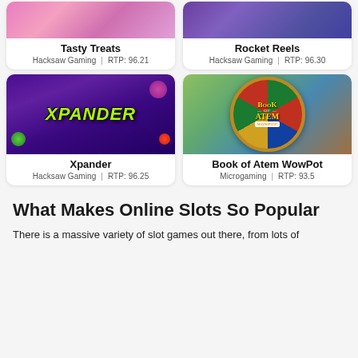[Figure (screenshot): Tasty Treats slot game card with pink/purple gradient game image]
Tasty Treats
Hacksaw Gaming | RTP: 96.21
[Figure (screenshot): Rocket Reels slot game card with dark purple space-themed image]
Rocket Reels
Hacksaw Gaming | RTP: 96.30
[Figure (screenshot): Xpander slot game card with purple background and lime green XPANDER text]
Xpander
Hacksaw Gaming | RTP: 96.25
[Figure (screenshot): Book of Atem WowPot slot game card with colorful wheel and golden text]
Book of Atem WowPot
Microgaming | RTP: 93.5
What Makes Online Slots So Popular
There is a massive variety of slot games out there, from lots of